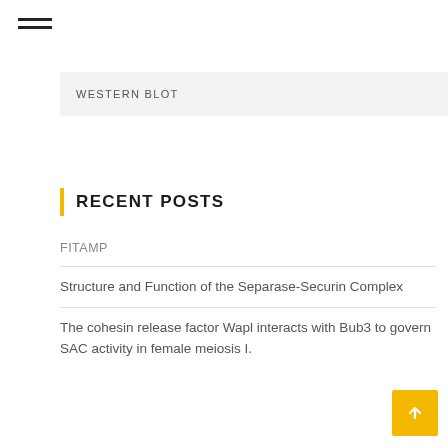☰ (hamburger menu icon)
WESTERN BLOT
RECENT POSTS
FITAMP
Structure and Function of the Separase-Securin Complex
The cohesin release factor Wapl interacts with Bub3 to govern SAC activity in female meiosis I.